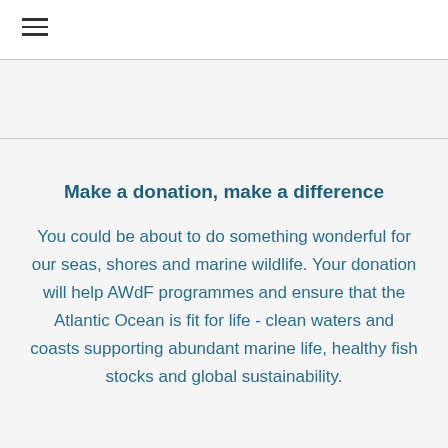≡
Make a donation, make a difference
You could be about to do something wonderful for our seas, shores and marine wildlife. Your donation will help AWdF programmes and ensure that the Atlantic Ocean is fit for life - clean waters and coasts supporting abundant marine life, healthy fish stocks and global sustainability.